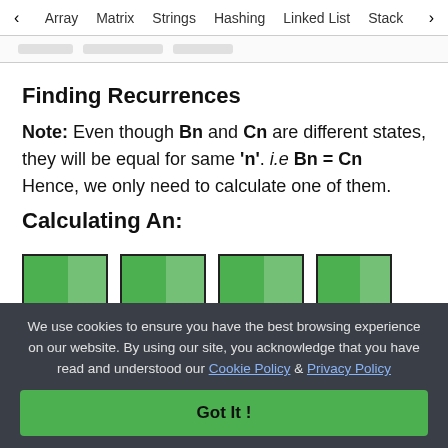< Array   Matrix   Strings   Hashing   Linked List   Stack >
Finding Recurrences
Note: Even though Bn and Cn are different states, they will be equal for same 'n'. i.e Bn = Cn Hence, we only need to calculate one of them.
Calculating An:
[Figure (illustration): Partial view of four green diagram cells/boxes with dark borders, representing array/matrix states.]
We use cookies to ensure you have the best browsing experience on our website. By using our site, you acknowledge that you have read and understood our Cookie Policy & Privacy Policy
Got It !